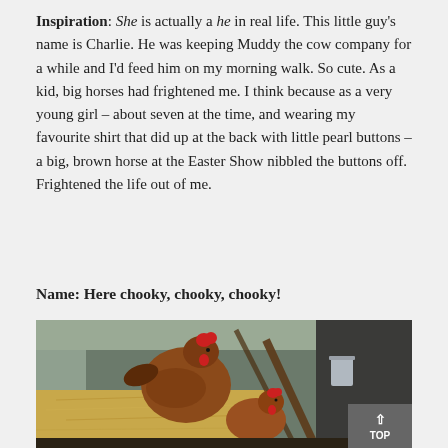Inspiration: She is actually a he in real life. This little guy's name is Charlie. He was keeping Muddy the cow company for a while and I'd feed him on my morning walk. So cute. As a kid, big horses had frightened me. I think because as a very young girl – about seven at the time, and wearing my favourite shirt that did up at the back with little pearl buttons – a big, brown horse at the Easter Show nibbled the buttons off. Frightened the life out of me.
Name: Here chooky, chooky, chooky!
[Figure (photo): Two brown/red chickens (hens) inside a barn or coop, standing on hay/straw. Wooden beams visible in the background. A grey plastic bucket is visible in the upper right area. A 'TOP' button overlay is in the bottom right corner.]